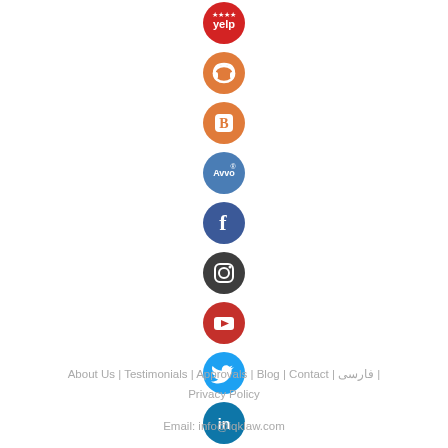[Figure (illustration): Column of social media icon circles: Yelp (red/logo), podcast/headphones (orange), Blogger (orange B), Avvo (blue), Facebook (blue f), Instagram (dark camera), YouTube (red play), Twitter (cyan bird), LinkedIn (cyan in), Apple Music (white music note with pink/red ring)]
About Us | Testimonials | Approvals | Blog | Contact | فارسی | Privacy Policy
Email: info@iqklaw.com